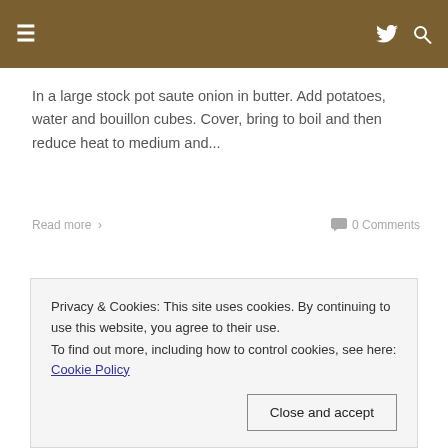≡  🐦  🔍
In a large stock pot saute onion in butter. Add potatoes, water and bouillon cubes. Cover, bring to boil and then reduce heat to medium and...
Read more >    💬 0 Comments
Privacy & Cookies: This site uses cookies. By continuing to use this website, you agree to their use.
To find out more, including how to control cookies, see here: Cookie Policy

[Close and accept]